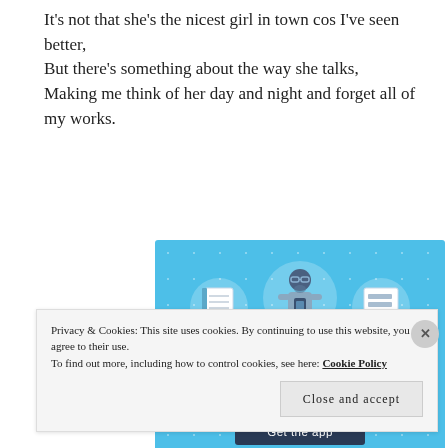It's not that she's the nicest girl in town cos I've seen better, But there's something about the way she talks, Making me think of her day and night and forget all of my works.
[Figure (illustration): Day One journaling app advertisement on a light blue dotted background. Shows three circular icons (notebook, person using phone, checklist), text 'DAY ONE - The only journaling app you'll ever need.' and a 'Get the app' button.]
Privacy & Cookies: This site uses cookies. By continuing to use this website, you agree to their use.
To find out more, including how to control cookies, see here: Cookie Policy
Close and accept